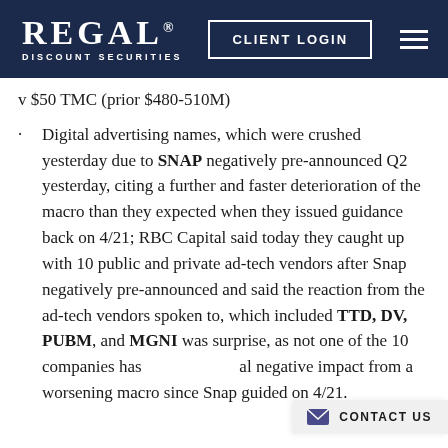REGAL DISCOUNT SECURITIES | CLIENT LOGIN
v $50 TMC (prior $480-510M)
Digital advertising names, which were crushed yesterday due to SNAP negatively pre-announced Q2 yesterday, citing a further and faster deterioration of the macro than they expected when they issued guidance back on 4/21; RBC Capital said today they caught up with 10 public and private ad-tech vendors after Snap negatively pre-announced and said the reaction from the ad-tech vendors spoken to, which included TTD, DV, PUBM, and MGNI was surprise, as not one of the 10 companies has seen a material negative impact from a worsening macro since Snap guided on 4/21.